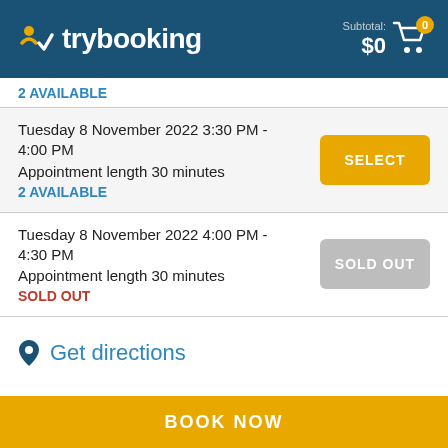trybooking — Subtotal: $0
2 AVAILABLE
Tuesday 8 November 2022 3:30 PM - 4:00 PM
Appointment length 30 minutes
2 AVAILABLE
SELECT
Tuesday 8 November 2022 4:00 PM - 4:30 PM
Appointment length 30 minutes
SOLD OUT
SOLD OUT
Get directions
BOOK NOW